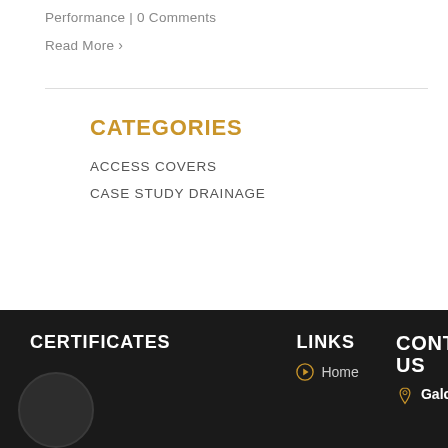Performance | 0 Comments
Read More >
CATEGORIES
ACCESS COVERS
CASE STUDY DRAINAGE
CERTIFICATES LINKS CONTACT US Home Galco
Home
Galco